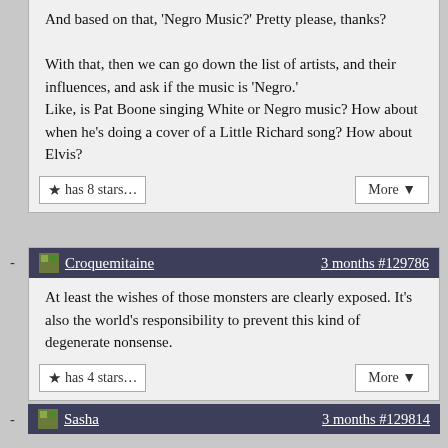And based on that, 'Negro Music?' Pretty please, thanks?

With that, then we can go down the list of artists, and their influences, and ask if the music is 'Negro.'
Like, is Pat Boone singing White or Negro music? How about when he's doing a cover of a Little Richard song? How about Elvis?

★ has 8 stars…   More ▼
Croquemitaine   3 months #129786

At least the wishes of those monsters are clearly exposed. It's also the world's responsibility to prevent this kind of degenerate nonsense.

★ has 4 stars…   More ▼
Sasha   3 months #129814